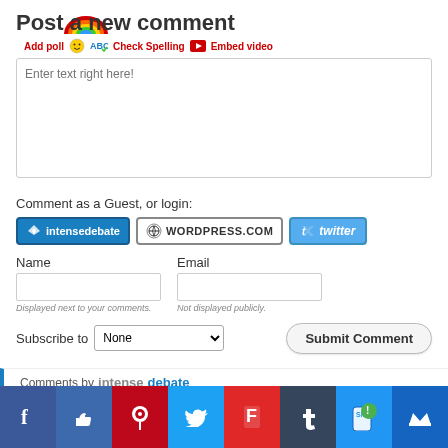Post a new comment
Enter text right here!
Comment as a Guest, or login:
[Figure (screenshot): Login buttons: intensedebate, WordPress.com, twitter]
Name
Email
Displayed next to your comments.
Not displayed publicly.
Subscribe to None
Submit Comment
Comments by intensedebate
[Figure (infographic): Social sharing bar with Facebook, Like, Pinterest, Twitter, Flipboard, Tumblr, SMS, and crown icons]